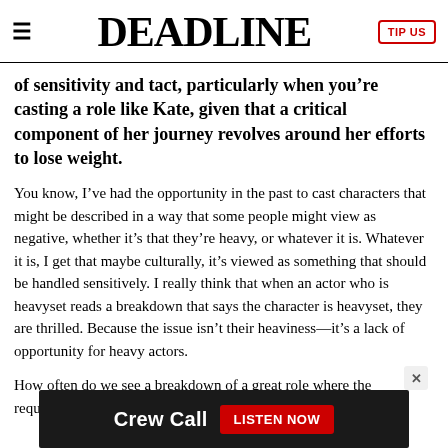DEADLINE | TIP US
of sensitivity and tact, particularly when you’re casting a role like Kate, given that a critical component of her journey revolves around her efforts to lose weight.
You know, I’ve had the opportunity in the past to cast characters that might be described in a way that some people might view as negative, whether it’s that they’re heavy, or whatever it is. Whatever it is, I get that maybe culturally, it’s viewed as something that should be handled sensitively. I really think that when an actor who is heavyset reads a breakdown that says the character is heavyset, they are thrilled. Because the issue isn’t their heaviness—it’s a lack of opportunity for heavy actors.
How often do we see a breakdown of a great role where the requirement is that physical type? We see it all the time for skin
[Figure (other): Advertisement banner for 'Crew Call' podcast with LISTEN NOW button]